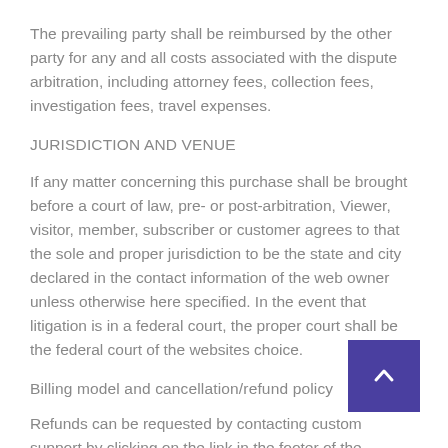The prevailing party shall be reimbursed by the other party for any and all costs associated with the dispute arbitration, including attorney fees, collection fees, investigation fees, travel expenses.
JURISDICTION AND VENUE
If any matter concerning this purchase shall be brought before a court of law, pre- or post-arbitration, Viewer, visitor, member, subscriber or customer agrees to that the sole and proper jurisdiction to be the state and city declared in the contact information of the web owner unless otherwise here specified. In the event that litigation is in a federal court, the proper court shall be the federal court of the websites choice.
Billing model and cancellation/refund policy
Refunds can be requested by contacting customer support by clicking on the link in the footer of the